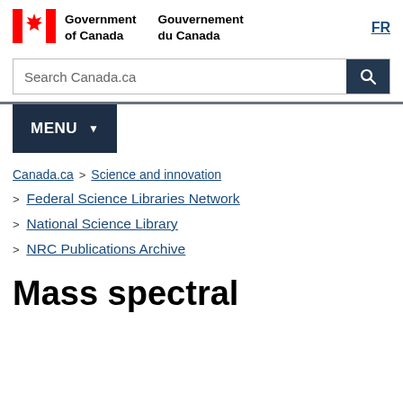[Figure (logo): Government of Canada / Gouvernement du Canada flag logo with maple leaf]
Government of Canada / Gouvernement du Canada | FR
Search Canada.ca
MENU
Canada.ca > Science and innovation > Federal Science Libraries Network > National Science Library > NRC Publications Archive
Mass spectral